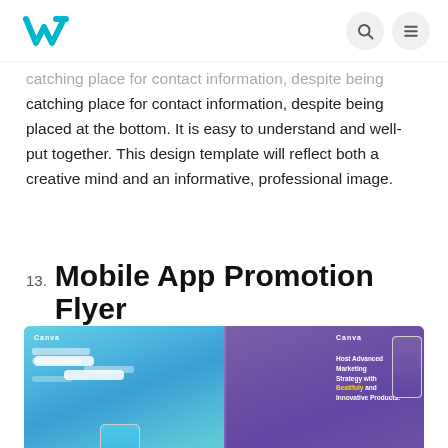W [logo] [search icon] [menu icon]
catching place for contact information, despite being placed at the bottom. It is easy to understand and well-put together. This design template will reflect both a creative mind and an informative, professional image.
13. Mobile App Promotion Flyer
[Figure (screenshot): Screenshot of a Mobile App Promotion Flyer mockup showing two panels: left panel with a teal/blue gradient background displaying a smartphone mockup with chat bubbles, and right panel with a purple gradient background showing text 'Host Advanced Marketing Strategy with Beatifuly and Innovative Products' with app store download buttons and QR codes.]